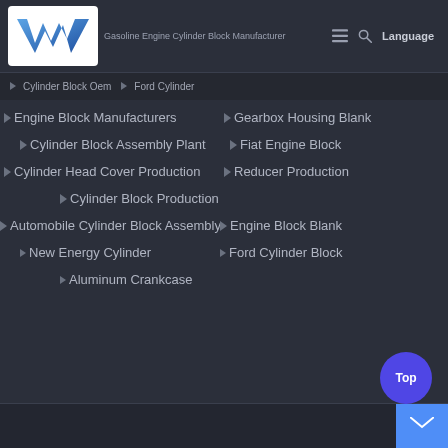Gasoline Engine Cylinder Block Manufacturer
[Figure (logo): Blue W logo on white background]
Cylinder Block Oem
Ford Cylinder
Engine Block Manufacturers
Gearbox Housing Blank
Cylinder Block Assembly Plant
Fiat Engine Block
Cylinder Head Cover Production
Reducer Production
Cylinder Block Production
Automobile Cylinder Block Assembly
Engine Block Blank
New Energy Cylinder
Ford Cylinder Block
Aluminum Crankcase